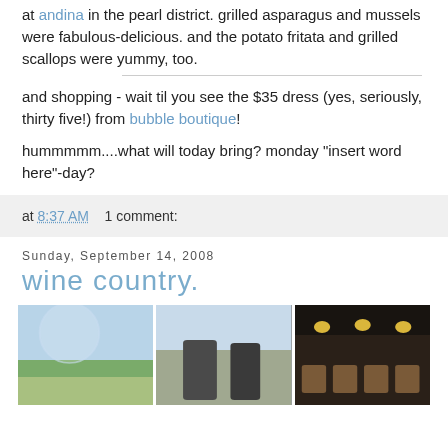at andina in the pearl district. grilled asparagus and mussels were fabulous-delicious. and the potato fritata and grilled scallops were yummy, too.
and shopping - wait til you see the $35 dress (yes, seriously, thirty five!) from bubble boutique!
hummmmm....what will today bring? monday "insert word here"-day?
at 8:37 AM   1 comment:
Sunday, September 14, 2008
wine country.
[Figure (photo): Three photos side by side: a wine glass in a vineyard landscape, two women posing outdoors, and a dimly lit barrel cellar tunnel.]